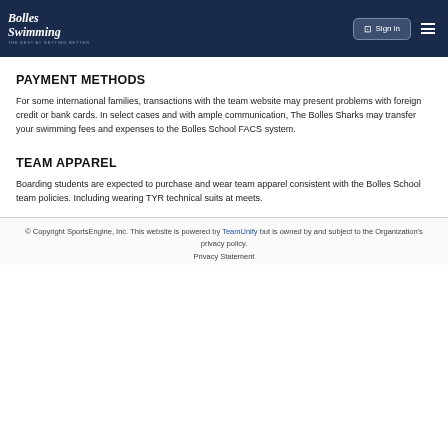Bolles Swimming — THE BEST AT GETTING BETTER — Sign in
PAYMENT METHODS
For some international families, transactions with the team website may present problems with foreign credit or bank cards. In select cases and with ample communication, The Bolles Sharks may transfer your swimming fees and expenses to the Bolles School FACS system.
TEAM APPAREL
Boarding students are expected to purchase and wear team apparel consistent with the Bolles School team policies. Including wearing TYR technical suits at meets.
© Copyright SportsEngine, Inc. This website is powered by TeamUnify but is owned by and subject to the Organization's privacy policy. Privacy Statement